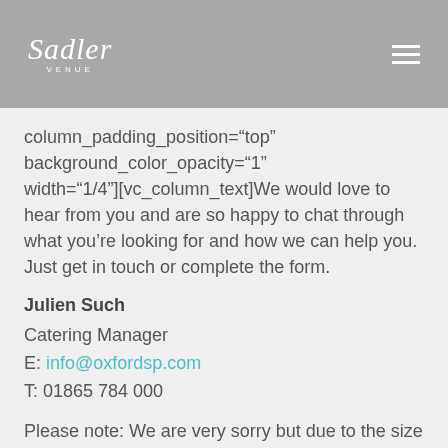Sadler venue
column_padding_position="top" background_color_opacity="1" width="1/4"][vc_column_text]We would love to hear from you and are so happy to chat through what you're looking for and how we can help you. Just get in touch or complete the form.
Julien Such
Catering Manager
E: info@oxfordsp.com
T: 01865 784 000
Please note: We are very sorry but due to the size of the venue, it's not possible to accommodate guests